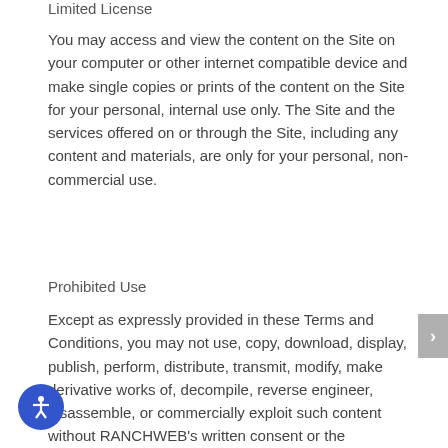Limited License
You may access and view the content on the Site on your computer or other internet compatible device and make single copies or prints of the content on the Site for your personal, internal use only. The Site and the services offered on or through the Site, including any content and materials, are only for your personal, non-commercial use.
Prohibited Use
Except as expressly provided in these Terms and Conditions, you may not use, copy, download, display, publish, perform, distribute, transmit, modify, make derivative works of, decompile, reverse engineer, disassemble, or commercially exploit such content without RANCHWEB's written consent or the